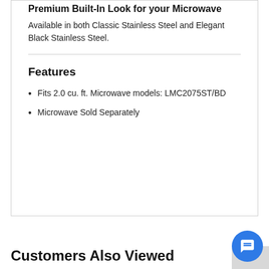Premium Built-In Look for your Microwave
Available in both Classic Stainless Steel and Elegant Black Stainless Steel.
Features
Fits 2.0 cu. ft. Microwave models: LMC2075ST/BD
Microwave Sold Separately
Customers Also Viewed